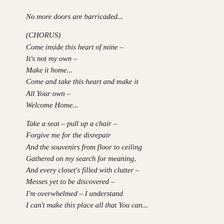No more doors are barricaded...
(CHORUS)
Come inside this heart of mine –
It's not my own –
Make it home...
Come and take this heart and make it
All Your own –
Welcome Home...
Take a seat – pull up a chair –
Forgive me for the disrepair
And the souvenirs from floor to ceiling
Gathered on my search for meaning,
And every closet's filled with clutter –
Messes yet to be discovered –
I'm overwhelmed – I understand
I can't make this place all that You can...